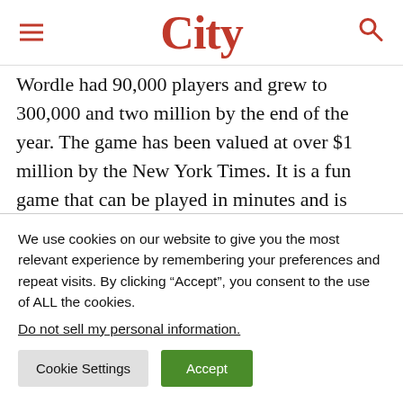City
Wordle had 90,000 players and grew to 300,000 and two million by the end of the year. The game has been valued at over $1 million by the New York Times. It is a fun game that can be played in minutes and is perfect for when you need a distraction.
Another great feature of Wordle is that you can share your scores in group texts, social networks, and more. Just
We use cookies on our website to give you the most relevant experience by remembering your preferences and repeat visits. By clicking “Accept”, you consent to the use of ALL the cookies.
Do not sell my personal information.